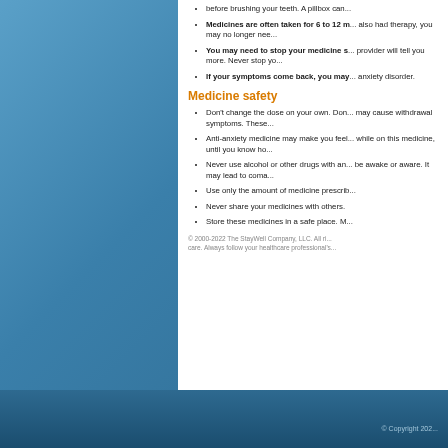before brushing your teeth. A pillbox can...
Medicines are often taken for 6 to 12 m... also had therapy, you may no longer nee...
You may need to stop your medicine s... provider will tell you more. Never stop yo...
If your symptoms come back, you may... anxiety disorder.
Medicine safety
Don't change the dose on your own. Don... may cause withdrawal symptoms. These...
Anti-anxiety medicine may make you feel... while on this medicine, until you know ho...
Never use alcohol or other drugs with an... be awake or aware. It may lead to coma...
Use only the amount of medicine prescrib...
Never share your medicines with others.
Store these medicines in a safe place. M...
© 2000-2022 The StayWell Company, LLC. All ri... care. Always follow your healthcare professional's...
© Copyright 202...